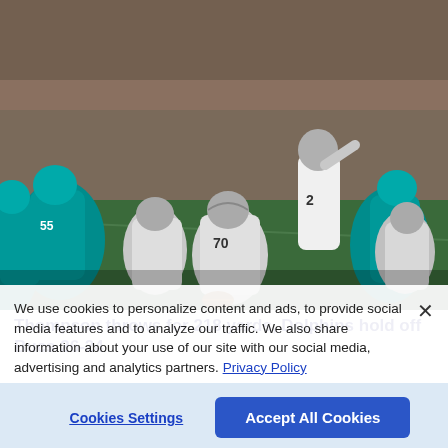[Figure (photo): NFL football scene: Tampa Bay Buccaneers (#2 quarterback, #70 center) at the line of scrimmage against Miami Dolphins (teal uniforms) in a stadium with crowd in background.]
Thompson throws for 218 yards, Dolphins hold off Bucs 26-24
By: Fred Goodall Aug. 13, 2022 11:12 PM EDT
We use cookies to personalize content and ads, to provide social media features and to analyze our traffic. We also share information about your use of our site with our social media, advertising and analytics partners. Privacy Policy
Cookies Settings
Accept All Cookies